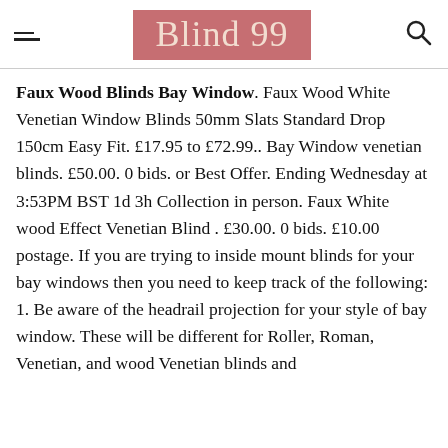Blind 99
Faux Wood Blinds Bay Window. Faux Wood White Venetian Window Blinds 50mm Slats Standard Drop 150cm Easy Fit. £17.95 to £72.99.. Bay Window venetian blinds. £50.00. 0 bids. or Best Offer. Ending Wednesday at 3:53PM BST 1d 3h Collection in person. Faux White wood Effect Venetian Blind . £30.00. 0 bids. £10.00 postage. If you are trying to inside mount blinds for your bay windows then you need to keep track of the following: 1. Be aware of the headrail projection for your style of bay window. These will be different for Roller, Roman, Venetian, and wood Venetian blinds and